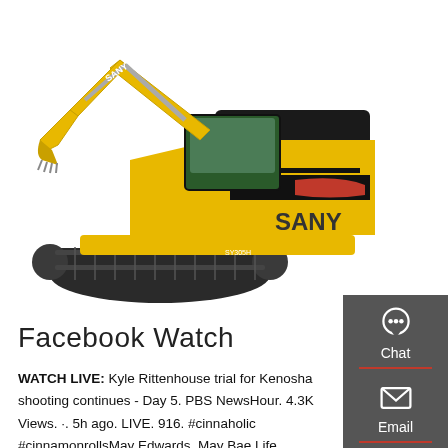[Figure (photo): Yellow SANY excavator (model SY305H) on a white background, showing the full machine with boom, arm, bucket, and tracked undercarriage. The SANY brand name is visible on the body.]
Facebook Watch
WATCH LIVE: Kyle Rittenhouse trial for Kenosha shooting continues - Day 5. PBS NewsHour. 4.3K Views. ·. 5h ago. LIVE. 916. #cinnaholic #cinnamonrollsMay Edwards. May Bae Life.